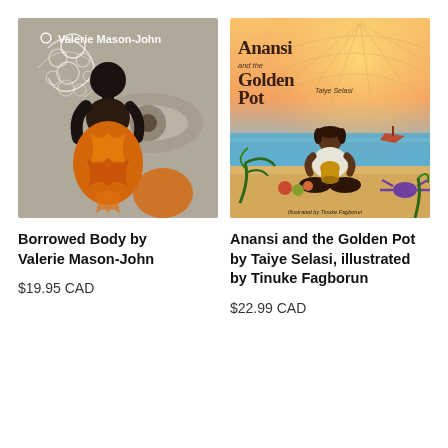[Figure (illustration): Book cover of 'Borrowed Body' by Valerie Mason-John. Dark artistic illustration showing a silhouetted figure with orange flame-like patterns and white swirling smoke/bubbles, with a large eye visible in the background. Author name 'Valerie Mason-John' written at the top.]
[Figure (illustration): Book cover of 'Anansi and the Golden Pot' by Taiye Selasi, illustrated by Tinuke Fagborun. Colourful children's book illustration showing a child sitting cross-legged on a beach holding a golden pot, with a spider web in the background sky, a boat on the ocean, tropical plants and crabs around, and warm sunset colours.]
Borrowed Body by Valerie Mason-John
$19.95 CAD
Anansi and the Golden Pot by Taiye Selasi, illustrated by Tinuke Fagborun
$22.99 CAD